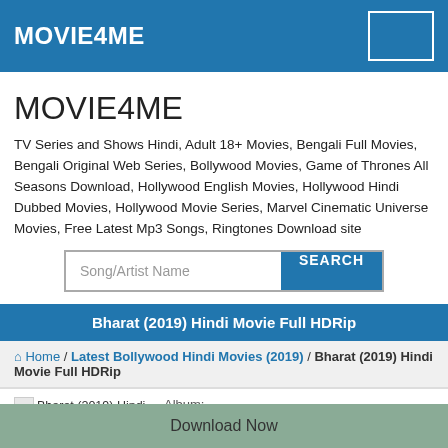MOVIE4ME
MOVIE4ME
TV Series and Shows Hindi, Adult 18+ Movies, Bengali Full Movies, Bengali Original Web Series, Bollywood Movies, Game of Thrones All Seasons Download, Hollywood English Movies, Hollywood Hindi Dubbed Movies, Hollywood Movie Series, Marvel Cinematic Universe Movies, Free Latest Mp3 Songs, Ringtones Download site
Song/Artist Name  SEARCH
Bharat (2019) Hindi Movie Full HDRip
Home / Latest Bollywood Hindi Movies (2019) / Bharat (2019) Hindi Movie Full HDRip
[Figure (other): Thumbnail image for Bharat (2019) Hindi Movie Full HDRip]
Album:
Artist:
Download Now